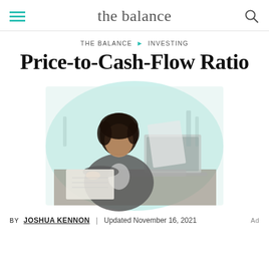the balance
THE BALANCE ▶ INVESTING
Price-to-Cash-Flow Ratio
[Figure (photo): Woman sitting at a desk in a kitchen/café setting, writing in a notebook with a laptop open in front of her, reviewing documents. The image has a teal/mint circular background overlay.]
BY JOSHUA KENNON | Updated November 16, 2021